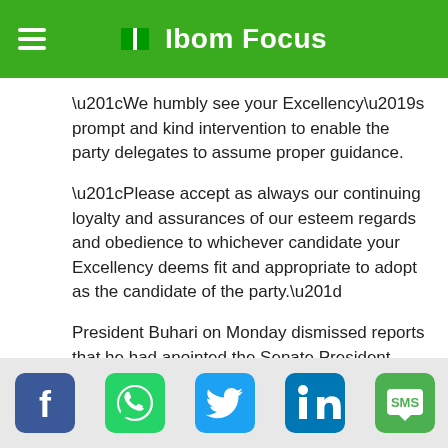Ibom Focus
“We humbly see your Excellency’s prompt and kind intervention to enable the party delegates to assume proper guidance.
“Please accept as always our continuing loyalty and assurances of our esteem regards and obedience to whichever candidate your Excellency deems fit and appropriate to adopt as the candidate of the party.”
President Buhari on Monday dismissed reports that he had anointed the Senate President, Ahmad Lawan as the presidential candidate of the ruling APC.
Earlier, the National Chairman of the APC also congratulates President Lawan as the [presidential candidate of the...